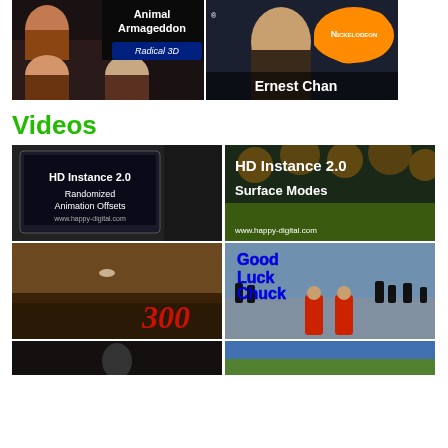[Figure (photo): Two thumbnail images side by side: left shows 'Animal Armageddon Radical 3D' with group of people; right shows Ernest Chan with Nickelodeon logo]
Videos
[Figure (screenshot): HD Instance 2.0 Randomized Animation Offsets www.happy-digital.com]
[Figure (screenshot): HD Instance 2.0 Surface Modes www.happy-digital.com]
[Figure (photo): Movie 300 promotional image with large red 300 logo]
[Figure (photo): Good Luck Chuck movie thumbnail with penguins]
[Figure (photo): Partial thumbnail row at bottom left]
[Figure (photo): Partial thumbnail row at bottom right]